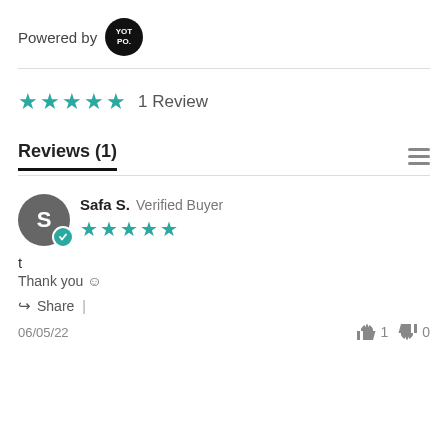[Figure (logo): Powered by YOTPO logo — black circle with YOT PO. text in white]
★★★★★  1 Review
Reviews (1)
Safa S.  Verified Buyer
t
Thank you ☺
Share  |
06/05/22
👍 1  👎 0